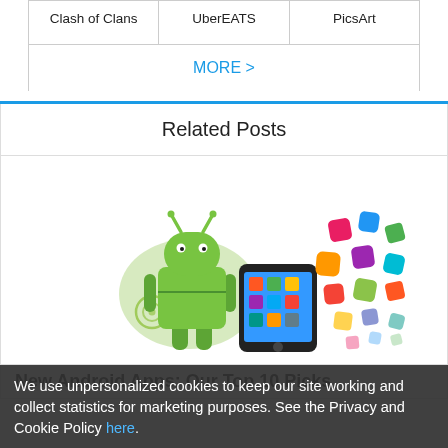| Clash of Clans | UberEATS | PicsArt |
| --- | --- | --- |
MORE >
Related Posts
[Figure (illustration): Android robot mascot standing next to a smartphone with colorful app icons flying out of the screen]
New Android Apps: Our Top 10 Picks
We use unpersonalized cookies to keep our site working and collect statistics for marketing purposes. See the Privacy and Cookie Policy here.